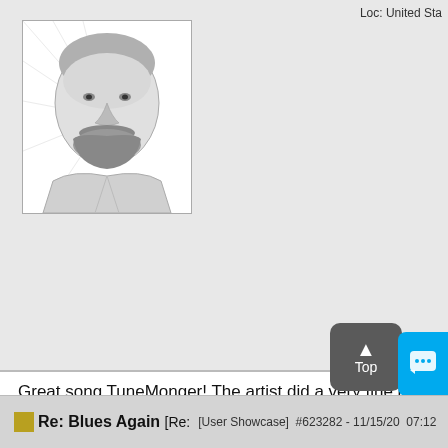Loc: United Sta
[Figure (photo): Black and white sketched portrait of a bearded man in a light jacket]
Great song TuneMonger! The artist did a very fine job with this but I still could hear this rocking out with a full band... maybe Dave, Marty and yourself and a BIAB realtrack artist or two. But hey, that's just me! Nice work! Take care, T
https://soundcloud.com/torrey_bliss
Peerless Godin Fender Taylor Guitars
Top
Re: Blues Again [Re:
[User Showcase]  #623282 - 11/15/20  07:12